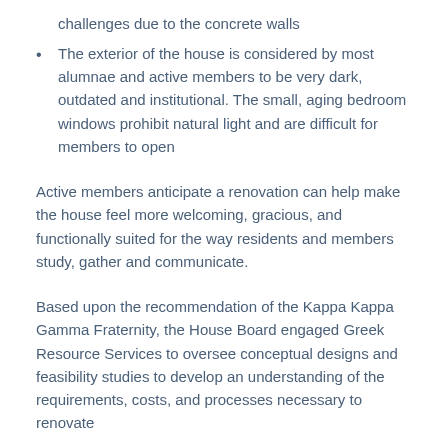challenges due to the concrete walls
The exterior of the house is considered by most alumnae and active members to be very dark, outdated and institutional. The small, aging bedroom windows prohibit natural light and are difficult for members to open
Active members anticipate a renovation can help make the house feel more welcoming, gracious, and functionally suited for the way residents and members study, gather and communicate.
Based upon the recommendation of the Kappa Kappa Gamma Fraternity, the House Board engaged Greek Resource Services to oversee conceptual designs and feasibility studies to develop an understanding of the requirements, costs, and processes necessary to renovate